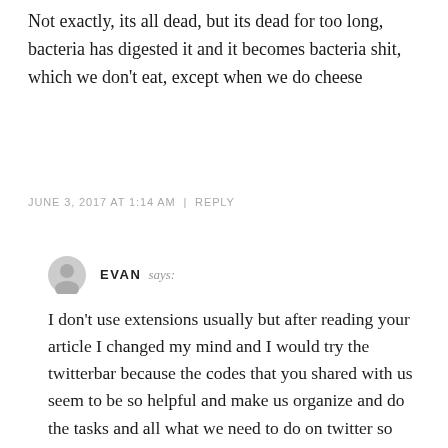Not exactly, its all dead, but its dead for too long, bacteria has digested it and it becomes bacteria shit, which we don't eat, except when we do cheese
JUNE 3, 2017 AT 1:14 AM | REPLY
EVAN says:
I don't use extensions usually but after reading your article I changed my mind and I would try the twitterbar because the codes that you shared with us seem to be so helpful and make us organize and do the tasks and all what we need to do on twitter so easily and in a perfect way, I'm so thankful.